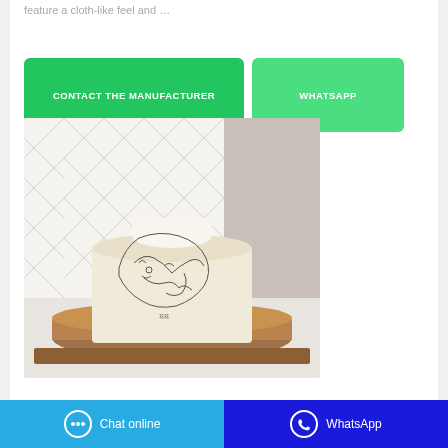feature a cloth-like feel and …
CONTACT THE MANUFACTURER
WHATSAPP
[Figure (photo): A tissue box with decorative line-art illustrations of faces, placed on a circular wooden tray atop a wooden board, against a white herringbone tile wall and concrete background.]
Chat online | WhatsApp